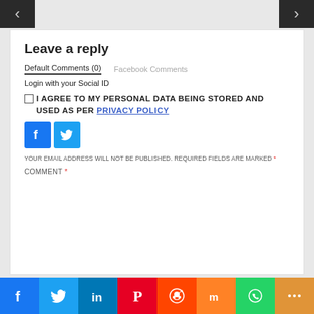[Figure (screenshot): Navigation arrow buttons on left and right sides (dark gray background with light chevron icons)]
Leave a reply
Default Comments (0)   Facebook Comments
Login with your Social ID
I AGREE TO MY PERSONAL DATA BEING STORED AND USED AS PER PRIVACY POLICY
[Figure (illustration): Facebook and Twitter social login icon buttons (blue square icons)]
YOUR EMAIL ADDRESS WILL NOT BE PUBLISHED. REQUIRED FIELDS ARE MARKED *
COMMENT *
[Figure (illustration): Bottom social sharing bar with Facebook, Twitter, LinkedIn, Pinterest, Reddit, Mix, WhatsApp, and More buttons]